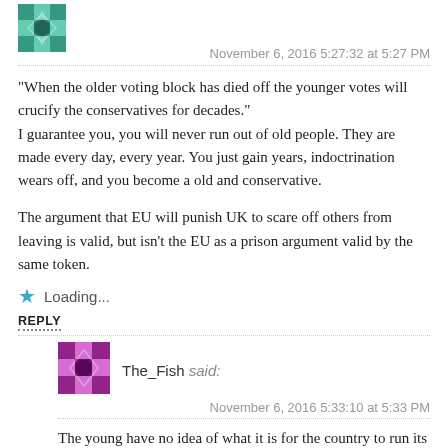[Figure (illustration): Teal/green geometric avatar icon (top left)]
November 6, 2016 5:27:32 at 5:27 PM
“When the older voting block has died off the younger votes will crucify the conservatives for decades.”
I guarantee you, you will never run out of old people. They are made every day, every year. You just gain years, indoctrination wears off, and you become a old and conservative.

The argument that EU will punish UK to scare off others from leaving is valid, but isn’t the EU as a prison argument valid by the same token.
Loading...
REPLY
[Figure (illustration): Purple/magenta geometric avatar icon for The_Fish]
The_Fish said:
November 6, 2016 5:33:10 at 5:33 PM
The young have no idea of what it is for the country to run its own affairs. Easily led. Too